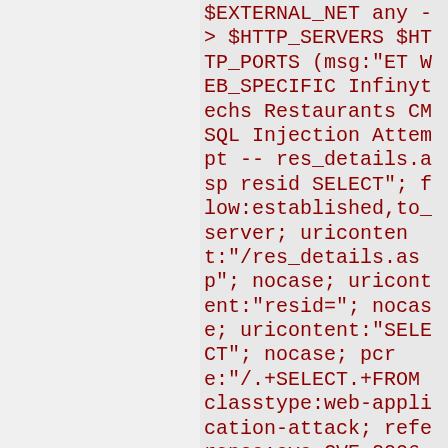$EXTERNAL_NET any -> $HTTP_SERVERS $HTTP_PORTS (msg:"ET WEB_SPECIFIC Infinytechs Restaurants CM SQL Injection Attempt -- res_details.asp resid SELECT"; flow:established,to_server; uricontent:"/res_details.asp"; nocase; uricontent:"resid="; nocase; uricontent:"SELECT"; nocase; pcre:"/.+SELECT.+FROM classtype:web-application-attack; reference:cve,CVE-2006-6269;